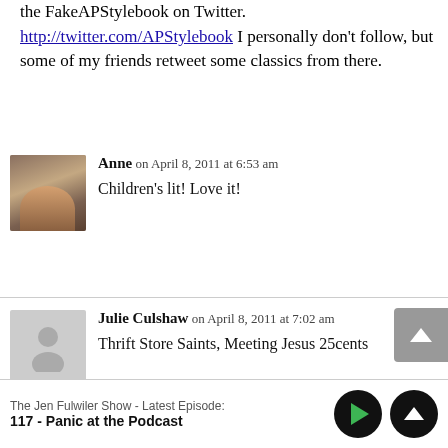the FakeAPStylebook on Twitter. http://twitter.com/APStylebook I personally don't follow, but some of my friends retweet some classics from there.
Anne on April 8, 2011 at 6:53 am
Children's lit! Love it!
[Figure (photo): Avatar photo of Anne, a woman with dark hair]
Julie Culshaw on April 8, 2011 at 7:02 am
Thrift Store Saints, Meeting Jesus 25cents
[Figure (illustration): Generic grey silhouette avatar for Julie Culshaw]
The Jen Fulwiler Show - Latest Episode:
117 - Panic at the Podcast